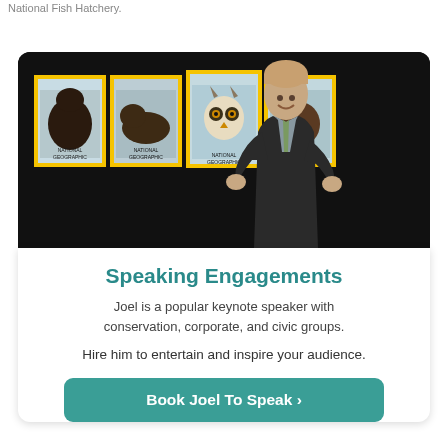National Fish Hatchery.
[Figure (photo): A man in a dark suit with a green tie speaking on stage, gesturing with open hands, in front of a backdrop of National Geographic magazine covers featuring wildlife]
Speaking Engagements
Joel is a popular keynote speaker with conservation, corporate, and civic groups.
Hire him to entertain and inspire your audience.
Book Joel To Speak >